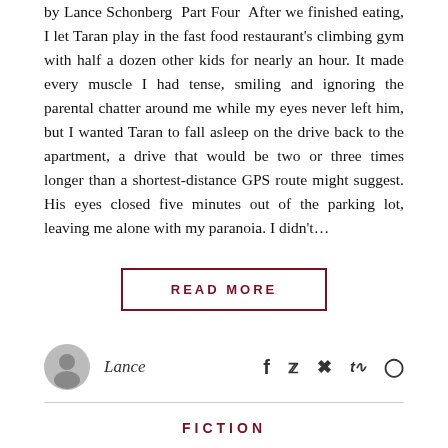by Lance Schonberg  Part Four  After we finished eating, I let Taran play in the fast food restaurant's climbing gym with half a dozen other kids for nearly an hour. It made every muscle I had tense, smiling and ignoring the parental chatter around me while my eyes never left him, but I wanted Taran to fall asleep on the drive back to the apartment, a drive that would be two or three times longer than a shortest-distance GPS route might suggest. His eyes closed five minutes out of the parking lot, leaving me alone with my paranoia. I didn't…
READ MORE
Lance
FICTION